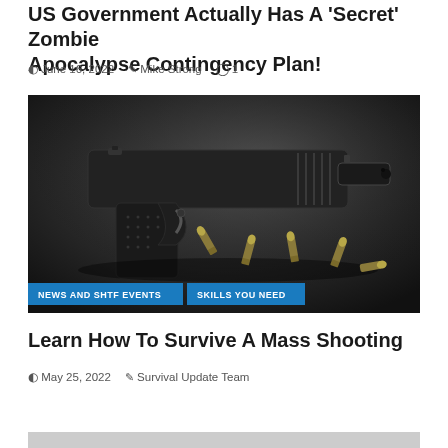US Government Actually Has A 'Secret' Zombie Apocalypse Contingency Plan!
June 16, 2022  Mike Strong  1
[Figure (photo): A black semi-automatic handgun lying on a dark surface surrounded by loose bullets/ammunition cartridges, with category tags 'NEWS AND SHTF EVENTS' and 'SKILLS YOU NEED' overlaid at the bottom]
Learn How To Survive A Mass Shooting
May 25, 2022  Survival Update Team